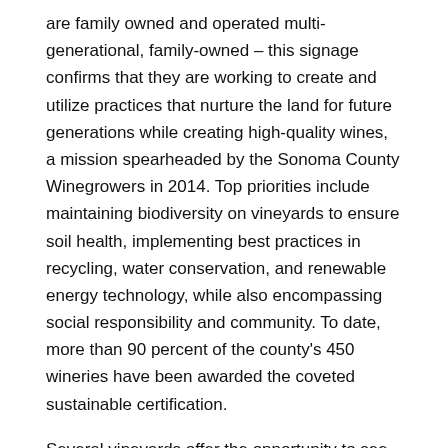are family owned and operated multi-generational, family-owned – this signage confirms that they are working to create and utilize practices that nurture the land for future generations while creating high-quality wines, a mission spearheaded by the Sonoma County Winegrowers in 2014. Top priorities include maintaining biodiversity on vineyards to ensure soil health, implementing best practices in recycling, water conservation, and renewable energy technology, while also encompassing social responsibility and community. To date, more than 90 percent of the county's 450 wineries have been awarded the coveted sustainable certification.
Several vineyards offer the opportunity to see sustainability in action:
AMISTA VINEYARDS
The artisan, family-owned winery and beautiful, estate vineyards of Amista Vineyards showcase the gorgeous grapes of Sonoma's Dry Creek Valley. Set off on a self-guided Vineyard Adventure Walk and you'll learn more about grapes behind the award-winning wines and the